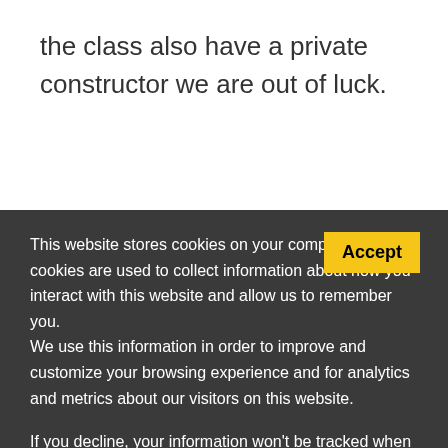the class also have a private constructor we are out of luck.
This website stores cookies on your computer. These cookies are used to collect information about how you interact with this website and allow us to remember you. We use this information in order to improve and customize your browsing experience and for analytics and metrics about our visitors on this website.
If you decline, your information won't be tracked when you visit this website. A single cookie will be used in your browser to remember your preference not to be tracked.